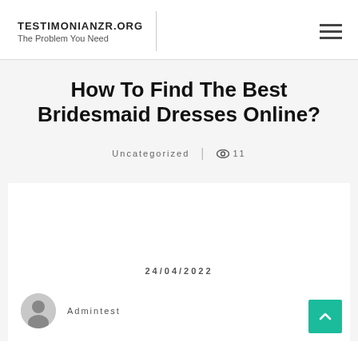TESTIMONIANZR.ORG
The Problem You Need
How To Find The Best Bridesmaid Dresses Online?
Uncategorized | 👁 11
24/04/2022
Admintest